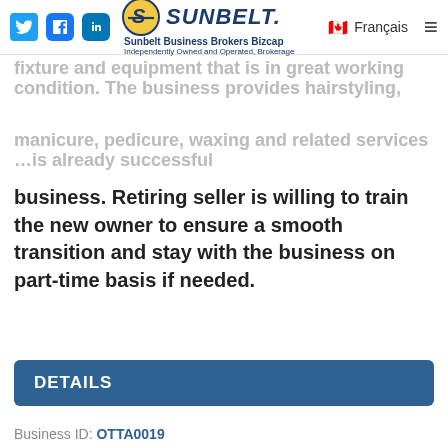[Figure (logo): Sunbelt Business Brokers Bizcap logo with circular yellow/blue S icon, text 'SUNBELT.' in dark blue bold italic, tagline 'Sunbelt Business Brokers Bizcap', 'Independently Owned and Operated, Brokerage']
...furnished with high quality fixture and equipment that is in great working condition. The business provides hairstyling, manicure, pedicure, waxing and related services...already successful business. Retiring seller is willing to train the new owner to ensure a smooth transition and stay with the business on part-time basis if needed.
DETAILS
Business ID: OTTA0019
Business Category: Personal and Laundry Services
Location: Ontario, Eastern Ontario, Ottawa
Status: Available